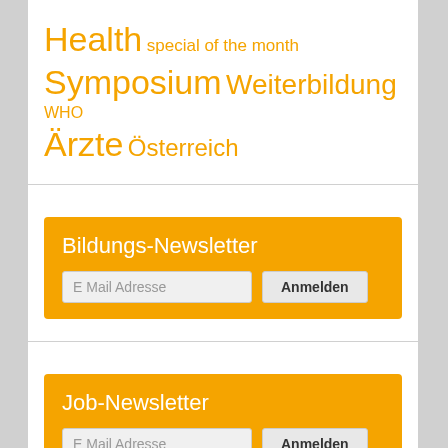Health special of the month Symposium Weiterbildung WHO Ärzte Österreich
Bildungs-Newsletter
E Mail Adresse  Anmelden
Job-Newsletter
E Mail Adresse  Anmelden